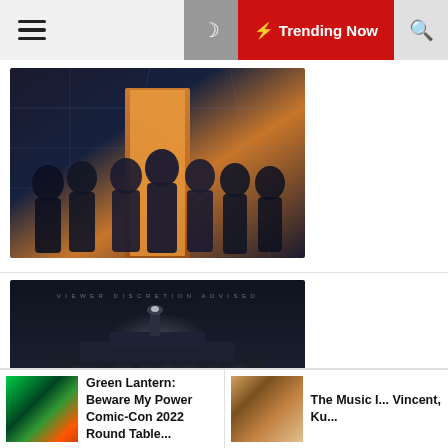☰  🌙  ⚡ Trending Now  🔍
[Figure (photo): TV show promotional image showing a group of agents/cast members in dark suits against a dramatic sci-fi background with orange and dark tones]
[Figure (photo): Alcatraz TV show promotional image with 'ALCATRAZ' title text over a dark moody island/water scene at night with 'VIEWER DISCRETION ADVISED' text at top]
[Figure (photo): Sci-fi show promotional image showing close-up faces of characters against a blue futuristic background]
Green Lantern: Beware My Power Comic-Con 2022 Round Table...   |   The Music I... Vincent, Ku...